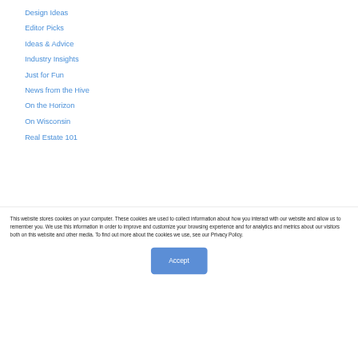Design Ideas
Editor Picks
Ideas & Advice
Industry Insights
Just for Fun
News from the Hive
On the Horizon
On Wisconsin
Real Estate 101
This website stores cookies on your computer. These cookies are used to collect information about how you interact with our website and allow us to remember you. We use this information in order to improve and customize your browsing experience and for analytics and metrics about our visitors both on this website and other media. To find out more about the cookies we use, see our Privacy Policy.
Accept